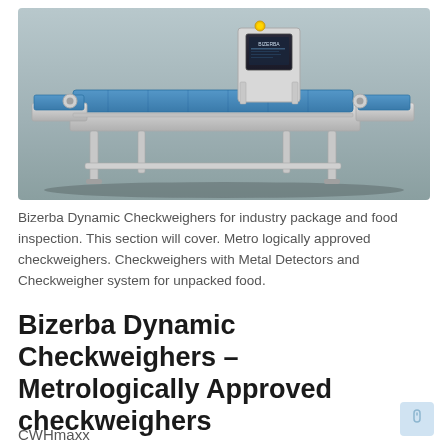[Figure (photo): Bizerba dynamic checkweigher machine — an industrial conveyor belt inspection system with a blue conveyor surface, stainless steel frame, and a mounted control display unit showing the Bizerba logo. The machine sits on a light grey background.]
Bizerba Dynamic Checkweighers for industry package and food inspection. This section will cover. Metro logically approved checkweighers. Checkweighers with Metal Detectors and Checkweigher system for unpacked food.
Bizerba Dynamic Checkweighers – Metrologically Approved checkweighers
CWHmaxx